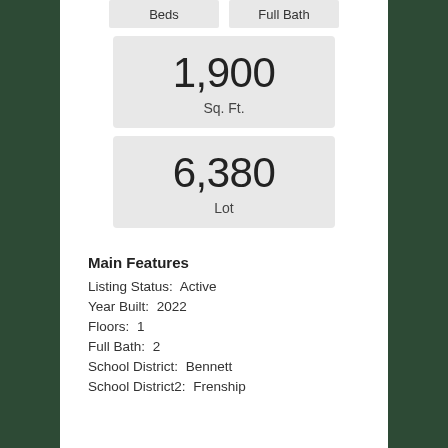Beds | Full Bath
1,900
Sq. Ft.
6,380
Lot
Main Features
Listing Status:   Active
Year Built:   2022
Floors:   1
Full Bath:   2
School District:   Bennett
School District2:   Frenship